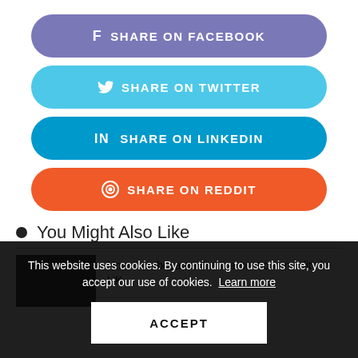SHARE ON FACEBOOK
SHARE ON TWITTER
SHARE ON LINKEDIN
SHARE ON REDDIT
You Might Also Like
How time became the scarcest commodity in UK
This website uses cookies. By continuing to use this site, you accept our use of cookies.  Learn more
ACCEPT